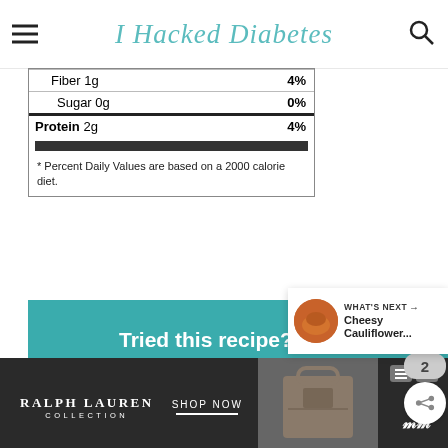I Hacked Diabetes
| Fiber 1g | 4% |
| Sugar 0g | 0% |
| Protein 2g | 4% |
* Percent Daily Values are based on a 2000 calorie diet.
[Figure (infographic): Pinterest promotion banner on teal background with Pinterest logo, text 'Tried this recipe? Pin it!' and 'Mention iHackedDiabetes or leave a comment below.']
WHAT'S NEXT → Cheesy Cauliflower...
[Figure (infographic): Ralph Lauren Collection advertisement bar at bottom with SHOP NOW call to action and handbag image]